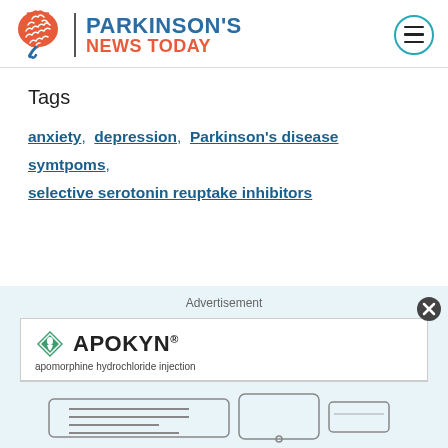[Figure (logo): Parkinson's News Today logo with brain icon, site name in blue and red, and hamburger menu icon in teal circle]
Tags
anxiety, depression, Parkinson's disease symtpoms, selective serotonin reuptake inhibitors
[Figure (advertisement): Apokyn (apomorphine hydrochloride injection) advertisement with logo and device illustration on light blue background]